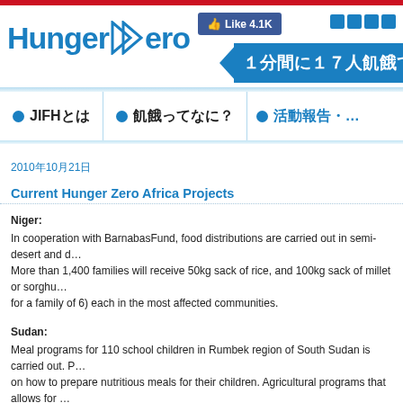[Figure (logo): Hunger Zero logo with blue text and arrow icon]
[Figure (screenshot): Facebook Like button showing 4.1K likes]
[Figure (infographic): Blue banner with Japanese text: 1分間に17人飢餓で亡くな...]
JIFHとは
飢餓ってなに？
活動報告・
2010年10月21日
Current Hunger Zero Africa Projects
Niger:
In cooperation with BarnabasFund, food distributions are carried out in semi-desert and d... More than 1,400 families will receive 50kg sack of rice, and 100kg sack of millet or sorghu... for a family of 6) each in the most affected communities.
Sudan:
Meal programs for 110 school children in Rumbek region of South Sudan is carried out. P... on how to prepare nutritious meals for their children. Agricultural programs that allows for ... their family is to be provided.